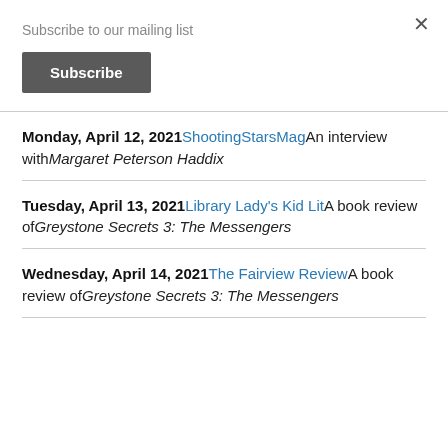Subscribe to our mailing list
Subscribe
Monday, April 12, 2021 ShootingStarsMag An interview with Margaret Peterson Haddix
Tuesday, April 13, 2021 Library Lady's Kid Lit A book review of Greystone Secrets 3: The Messengers
Wednesday, April 14, 2021 The Fairview Review A book review of Greystone Secrets 3: The Messengers